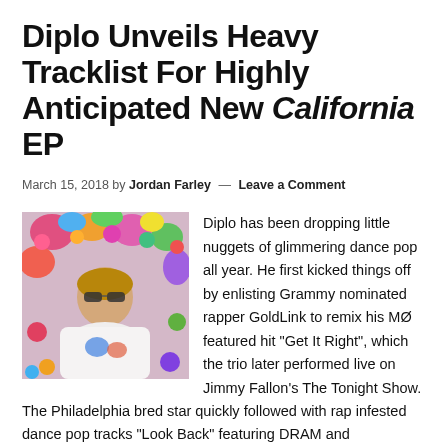Diplo Unveils Heavy Tracklist For Highly Anticipated New California EP
March 15, 2018 by Jordan Farley — Leave a Comment
[Figure (photo): Photo of Diplo lying among colorful flowers wearing sunglasses and white clothing]
Diplo has been dropping little nuggets of glimmering dance pop all year. He first kicked things off by enlisting Grammy nominated rapper GoldLink to remix his MØ featured hit "Get It Right", which the trio later performed live on Jimmy Fallon's The Tonight Show. The Philadelphia bred star quickly followed with rap infested dance pop tracks "Look Back" featuring DRAM and